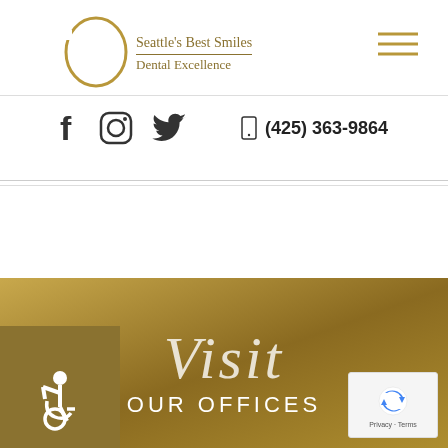[Figure (logo): Seattle's Best Smiles Dental Excellence logo with gold circle outline and text]
[Figure (infographic): Hamburger menu icon (three horizontal lines) in gold color]
(425) 363-9864
relaxed and comfortable for patients while enhancing their oral health and beautifying their smiles.
Visit OUR OFFICES